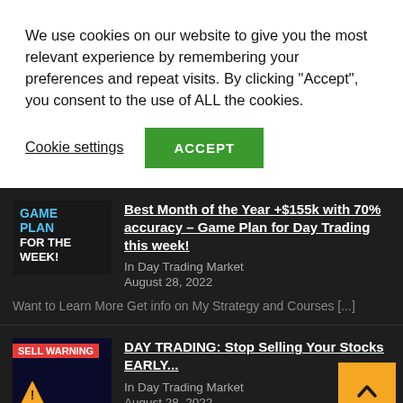We use cookies on our website to give you the most relevant experience by remembering your preferences and repeat visits. By clicking "Accept", you consent to the use of ALL the cookies.
Cookie settings   ACCEPT
Best Month of the Year +$155k with 70% accuracy – Game Plan for Day Trading this week!
In Day Trading Market
August 28, 2022
Want to Learn More Get info on My Strategy and Courses [...]
DAY TRADING: Stop Selling Your Stocks EARLY...
In Day Trading Market
August 28, 2022